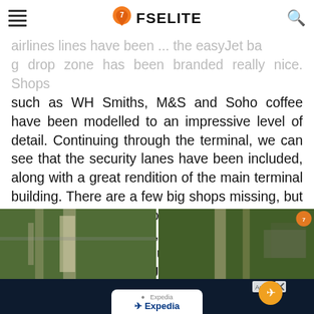FSELITE
airlines lines have been ... the easyJet bag drop zone has been branded really nice. Shops such as WH Smiths, M&S and Soho coffee have been modelled to an impressive level of detail. Continuing through the terminal, we can see that the security lanes have been included, along with a great rendition of the main terminal building. There are a few big shops missing, but that is only noticeable to those who frequent the airport a whole lot. Plus, this is a flight simulator so that’s hardly a big issue for anyone looking to add the airport to their UK collection.
[Figure (photo): Two aerial screenshots of an airport in a flight simulator, showing runways surrounded by green fields. Right image has an FSElite watermark logo.]
[Figure (screenshot): Advertisement overlay with dark navy background showing an Expedia mobile app card at the bottom center, with ad close button (x) on the right.]